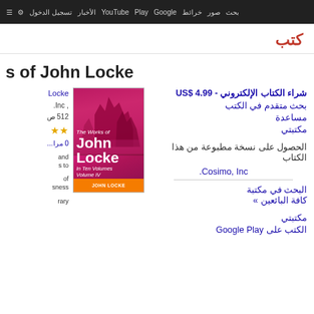بحث صور خرائط Google Play YouTube الأخبار تسجيل الدخول الإعدادات
كتب
s of John Locke
[Figure (photo): Book cover of The Works of John Locke In Ten Volumes Volume IV by John Locke, published by Cosimo Inc. Pink/magenta cover with rock formation background.]
شراء الكتاب الإلكتروني - US$ 4.99
بحث متقدم في الكتب
مساعدة
مكتبتي
الحصول على نسخة مطبوعة من هذا الكتاب
Cosimo, Inc.
البحث في مكتبة كافة البائعين »
مكتبتي
الكتب على Google Play